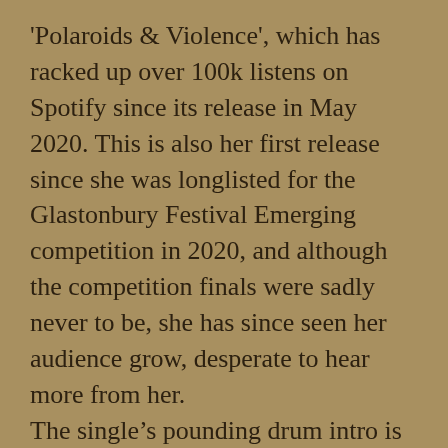'Polaroids & Violence', which has racked up over 100k listens on Spotify since its release in May 2020. This is also her first release since she was longlisted for the Glastonbury Festival Emerging competition in 2020, and although the competition finals were sadly never to be, she has since seen her audience grow, desperate to hear more from her. The single's pounding drum intro is an instant hook, and the punchy guitars are what fully pull you in. 'Kill The Waitress' is rough around the edges with a fiery moodiness running through. Switching from breathy vocals to a fierce, gritty roar in the chorus, Abi firmly sets herself up as an electrifying no-nonsense musician, while also laying bare her undeniable